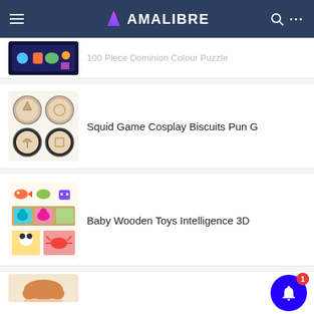AMALIBRE
[Figure (screenshot): Partially visible product image - space themed puzzle tin box with colorful cartoon characters]
100 Piece Dominion Colour Puzzle
[Figure (photo): Squid Game Cosplay Biscuits - four round wooden-colored cookie molds/tins showing game shapes]
Squid Game Cosplay Biscuits Pun G
[Figure (photo): Baby Wooden Toys Intelligence 3D puzzle pieces with colorful animal characters - fish, dinosaur, robot, seal, elephant, panda, crab]
Baby Wooden Toys Intelligence 3D
[Figure (photo): Partially visible product - child with red/blonde hair]